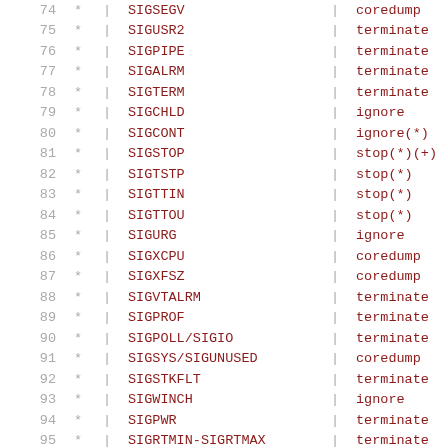| num | star | | | signal | | | action |
| --- | --- | --- | --- | --- | --- |
| 74 | * | | | SIGSEGV | | | coredump |
| 75 | * | | | SIGUSR2 | | | terminate |
| 76 | * | | | SIGPIPE | | | terminate |
| 77 | * | | | SIGALRM | | | terminate |
| 78 | * | | | SIGTERM | | | terminate |
| 79 | * | | | SIGCHLD | | | ignore |
| 80 | * | | | SIGCONT | | | ignore(*) |
| 81 | * | | | SIGSTOP | | | stop(*)(+) |
| 82 | * | | | SIGTSTP | | | stop(*) |
| 83 | * | | | SIGTTIN | | | stop(*) |
| 84 | * | | | SIGTTOU | | | stop(*) |
| 85 | * | | | SIGURG | | | ignore |
| 86 | * | | | SIGXCPU | | | coredump |
| 87 | * | | | SIGXFSZ | | | coredump |
| 88 | * | | | SIGVTALRM | | | terminate |
| 89 | * | | | SIGPROF | | | terminate |
| 90 | * | | | SIGPOLL/SIGIO | | | terminate |
| 91 | * | | | SIGSYS/SIGUNUSED | | | coredump |
| 92 | * | | | SIGSTKFLT | | | terminate |
| 93 | * | | | SIGWINCH | | | ignore |
| 94 | * | | | SIGPWR | | | terminate |
| 95 | * | | | SIGRTMIN-SIGRTMAX | | | terminate |